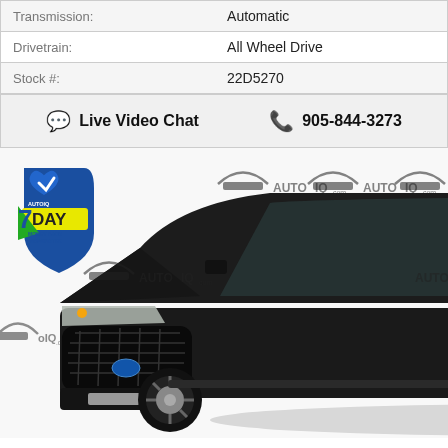| Transmission: | Automatic |
| Drivetrain: | All Wheel Drive |
| Stock #: | 22D5270 |
💬 Live Video Chat    📞 905-844-3273
[Figure (photo): Black Ford Edge ST SUV shown from front-left three-quarter angle, with AutoIQ.com watermarks on white background and a '7 Day Money Back Guarantee' badge overlay in the top-left corner.]